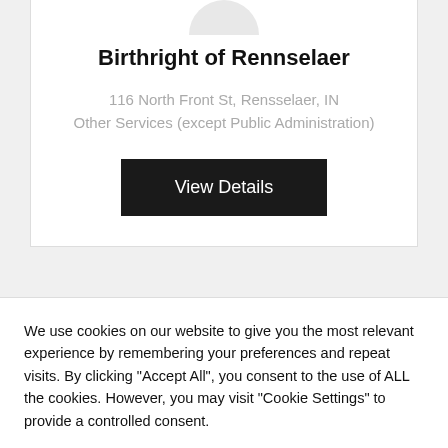[Figure (illustration): Partial circular avatar/profile image placeholder in light gray, cut off at top]
Birthright of Rennselaer
116 North Front St, Rensselaer, IN
Other Services (except Public Administration)
View Details
We use cookies on our website to give you the most relevant experience by remembering your preferences and repeat visits. By clicking “Accept All”, you consent to the use of ALL the cookies. However, you may visit “Cookie Settings” to provide a controlled consent.
Cookie Settings
Accept All
Call Now